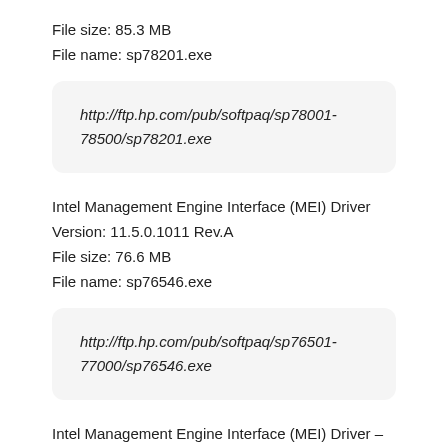File size: 85.3 MB
File name: sp78201.exe
http://ftp.hp.com/pub/softpaq/sp78001-78500/sp78201.exe
Intel Management Engine Interface (MEI) Driver
Version: 11.5.0.1011 Rev.A
File size: 76.6 MB
File name: sp76546.exe
http://ftp.hp.com/pub/softpaq/sp76501-77000/sp76546.exe
Intel Management Engine Interface (MEI) Driver – Kaby